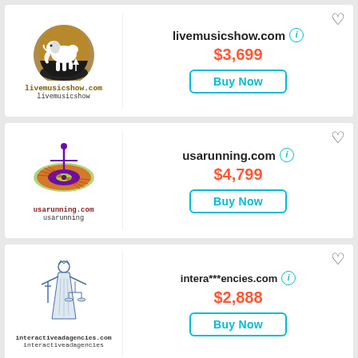[Figure (logo): livemusicshow.com logo with mammoth silhouette in circular badge]
livemusicshow.com
$3,699
Buy Now
[Figure (logo): usarunning.com logo with spinning top / roulette wheel design]
usarunning.com
$4,799
Buy Now
[Figure (logo): interactiveadagencies.com logo with Lady Justice figure]
intera***encies.com
$2,888
Buy Now